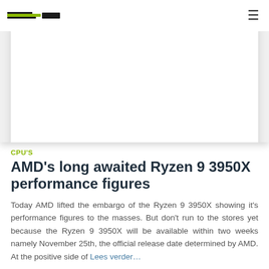[Logo] [Hamburger menu]
[Figure (photo): Hero image area — white card with shadow on light grey background, mostly blank/white]
CPU'S
AMD's long awaited Ryzen 9 3950X performance figures
Today AMD lifted the embargo of the Ryzen 9 3950X showing it's performance figures to the masses. But don't run to the stores yet because the Ryzen 9 3950X will be available within two weeks namely November 25th, the official release date determined by AMD. At the positive side of Lees verder…
Door Rene, 3 jaar geleden